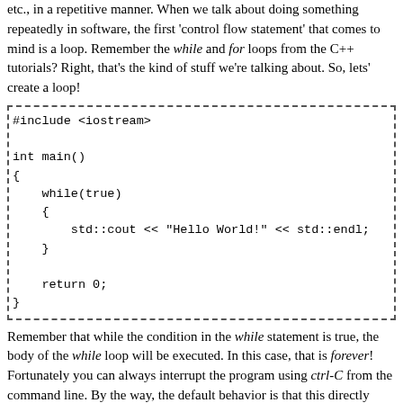etc., in a repetitive manner. When we talk about doing something repeatedly in software, the first 'control flow statement' that comes to mind is a loop. Remember the while and for loops from the C++ tutorials? Right, that's the kind of stuff we're talking about. So, lets' create a loop!
#include <iostream>

int main()
{
    while(true)
    {
        std::cout << "Hello World!" << std::endl;
    }

    return 0;
}
Remember that while the condition in the while statement is true, the body of the while loop will be executed. In this case, that is forever! Fortunately you can always interrupt the program using ctrl-C from the command line. By the way, the default behavior is that this directly kills your program, so all statements after the while loop (if there were any) would never be executed. You can verify this by putting a print statement there. You will see it is never called...
So, it's a nice loop, but there's at least three things wrong with it: